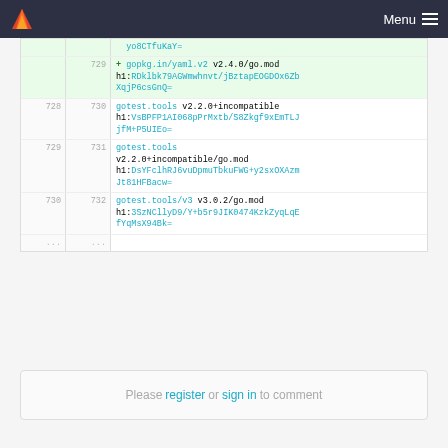Menu
yo8CTfuKaY=
729  +  gopkg.in/yaml.v2 v2.4.0/go.mod h1:RDklbk79AGWmwhnvt/jBztapEOGDOx6ZbXqjP6csGnQ=
728  730  gotest.tools v2.2.0+incompatible h1:VsBPFP1AI068pPrMxtb/S8Zkgf9xEmTLJjfM+P5UIEo=
729  731  gotest.tools v2.2.0+incompatible/go.mod h1:DsYFclhRJ6vuDpmuTbkuFWG+y2sxOXAzmJt81HFBacw=
730  732  gotest.tools/v3 v3.0.2/go.mod h1:3SzNCllyD9/Y+b5r9JIK0474KzkZyqLqEfYqMsX94Bk=
...  ...
Please register or sign in to comment